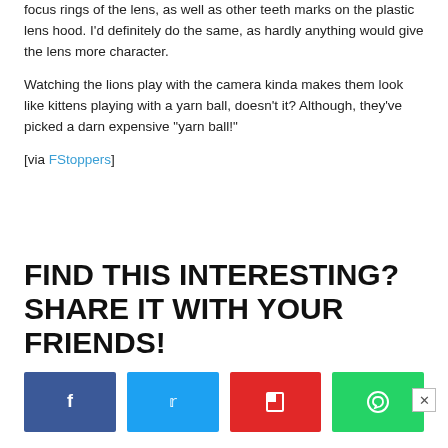focus rings of the lens, as well as other teeth marks on the plastic lens hood. I'd definitely do the same, as hardly anything would give the lens more character.
Watching the lions play with the camera kinda makes them look like kittens playing with a yarn ball, doesn't it? Although, they've picked a darn expensive "yarn ball!"
[via FStoppers]
FIND THIS INTERESTING? SHARE IT WITH YOUR FRIENDS!
[Figure (infographic): Four social share buttons: Facebook (dark blue), Twitter (light blue), Flipboard (red), WhatsApp (green)]